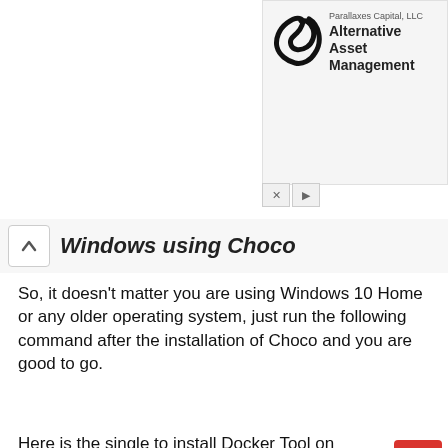[Figure (screenshot): Parallaxes Capital, LLC advertisement banner with logo and text 'Alternative Asset Management']
Windows using Choco
So, it doesn't matter you are using Windows 10 Home or any older operating system, just run the following command after the installation of Choco and you are good to go.
Here is the single to install Docker Tool on Windows:
choco install docker-toolbox docker-kitematic virtualbox